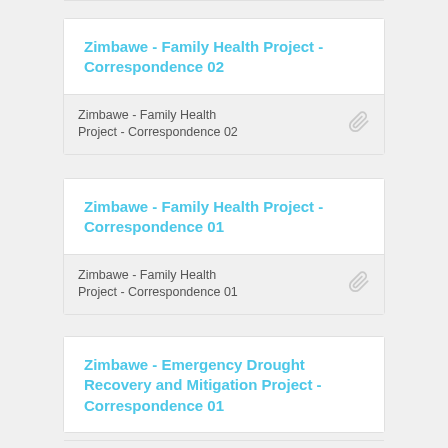Zimbawe - Family Health Project - Correspondence 02
Zimbawe - Family Health Project - Correspondence 01
Zimbawe - Emergency Drought Recovery and Mitigation Project - Correspondence 01